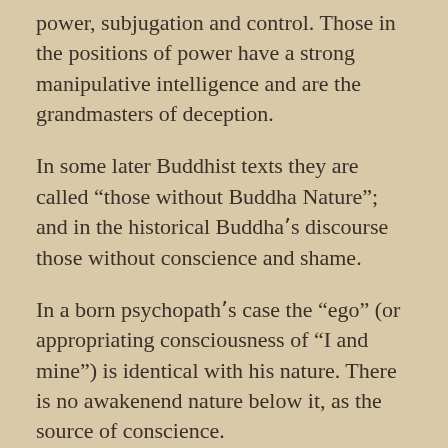power, subjugation and control. Those in the positions of power have a strong manipulative intelligence and are the grandmasters of deception.
In some later Buddhist texts they are called “those without Buddha Nature”; and in the historical Buddhaʼs discourse those without conscience and shame.
In a born psychopathʼs case the “ego” (or appropriating consciousness of “I and mine”) is identical with his nature. There is no awakenend nature below it, as the source of conscience.
# According to the oldest and indologically most reliable sources on the historical Buddhaʼs teaching (the discourses of the Pali Canon), he has strongly warned against the abuse of the states of the high